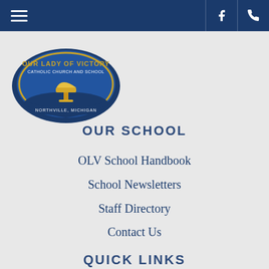Navigation bar with hamburger menu, Facebook icon, phone icon
[Figure (logo): Our Lady of Victory Catholic Church and School circular shield logo with blue and gold colors, Northville Michigan]
OUR SCHOOL
OLV School Handbook
School Newsletters
Staff Directory
Contact Us
QUICK LINKS